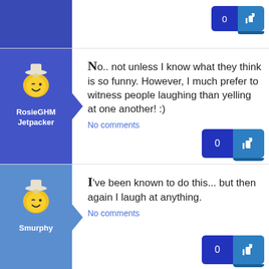[Figure (screenshot): Top partial post row with avatar area and like/count buttons partially visible]
No.. not unless I know what they think is so funny. However, I much prefer to witness people laughing than yelling at one another! :)
RosieGHM
Jetpacker
No comments
I've been known to do this... but then again I laugh at anything.
Smurphy
No comments